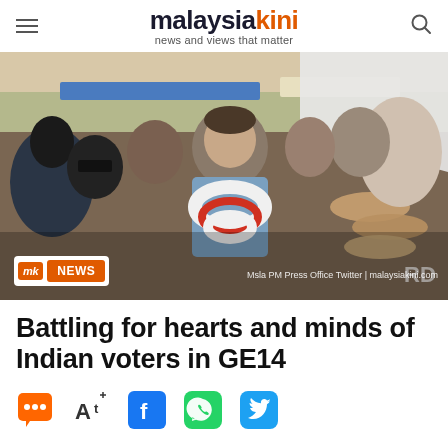malaysiakini — news and views that matter
[Figure (photo): A man wearing a floral garland (Malaysian PM) greeted by a crowd of supporters reaching out their hands, outdoor political event with tents and banners in background. Photo credit: Msla PM Press Office Twitter | malaysiakini.com]
mk NEWS — Msla PM Press Office Twitter | malaysiakini.com
Battling for hearts and minds of Indian voters in GE14
Social sharing icons: comments, font size, Facebook, WhatsApp, Twitter